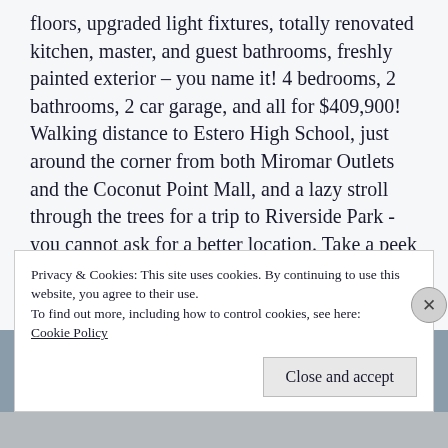floors, upgraded light fixtures, totally renovated kitchen, master, and guest bathrooms, freshly painted exterior – you name it! 4 bedrooms, 2 bathrooms, 2 car garage, and all for $409,900! Walking distance to Estero High School, just around the corner from both Miromar Outlets and the Coconut Point Mall, and a lazy stroll through the trees for a trip to Riverside Park - you cannot ask for a better location. Take a peek for yourself – give me a call to set up your own personal tour. 239-281-4844
Privacy & Cookies: This site uses cookies. By continuing to use this website, you agree to their use.
To find out more, including how to control cookies, see here:
Cookie Policy
Close and accept